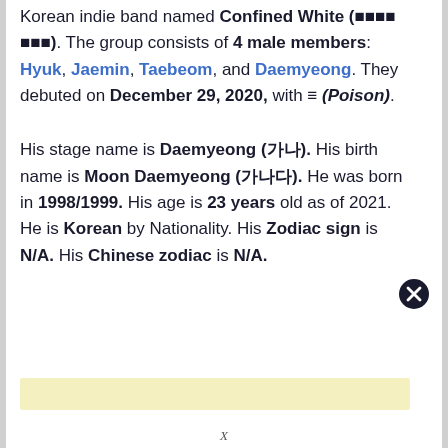Korean indie band named Confined White (囚禁白色). The group consists of 4 male members: Hyuk, Jaemin, Taebeom, and Daemyeong. They debuted on December 29, 2020, with 독 (Poison).
His stage name is Daemyeong (대명). His birth name is Moon Daemyeong (문대명). He was born in 1998/1999. His age is 23 years old as of 2021. He is Korean by Nationality. His Zodiac sign is N/A. His Chinese zodiac is N/A.